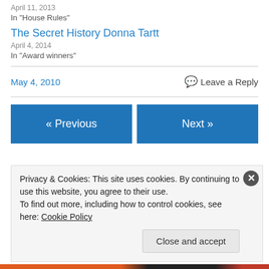April 11, 2013
In "House Rules"
The Secret History Donna Tartt
April 4, 2014
In "Award winners"
May 4, 2010
Leave a Reply
« Previous
Next »
Privacy & Cookies: This site uses cookies. By continuing to use this website, you agree to their use.
To find out more, including how to control cookies, see here: Cookie Policy
Close and accept